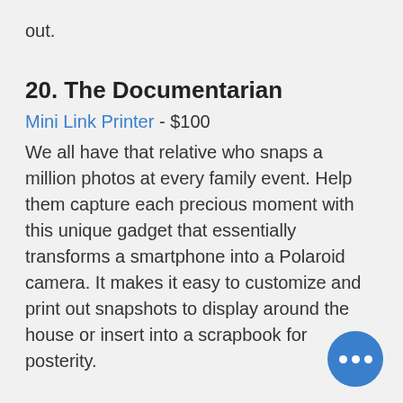out.
20. The Documentarian
Mini Link Printer - $100
We all have that relative who snaps a million photos at every family event. Help them capture each precious moment with this unique gadget that essentially transforms a smartphone into a Polaroid camera. It makes it easy to customize and print out snapshots to display around the house or insert into a scrapbook for posterity.
READY TO GIVE YOURSELF THE ULTIMATE GIFT?
We want to be your real estate consultants through every season of